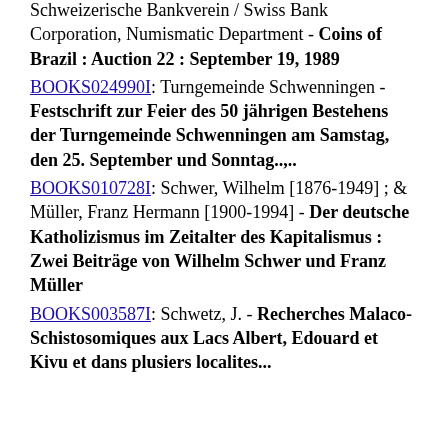Schweizerische Bankverein / Swiss Bank Corporation, Numismatic Department - Coins of Brazil : Auction 22 : September 19, 1989
BOOKS024990I: Turngemeinde Schwenningen - Festschrift zur Feier des 50 jährigen Bestehens der Turngemeinde Schwenningen am Samstag, den 25. September und Sonntag..,
BOOKS010728I: Schwer, Wilhelm [1876-1949] ; & Müller, Franz Hermann [1900-1994] - Der deutsche Katholizismus im Zeitalter des Kapitalismus : Zwei Beiträge von Wilhelm Schwer und Franz Müller
BOOKS003587I: Schwetz, J. - Recherches Malaco-Schistosomiques aux Lacs Albert, Edouard et Kivu et dans plusiers localites...